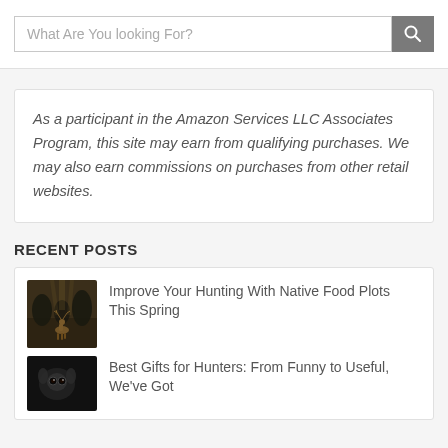What Are You looking For?
As a participant in the Amazon Services LLC Associates Program, this site may earn from qualifying purchases. We may also earn commissions on purchases from other retail websites.
RECENT POSTS
[Figure (photo): Thumbnail photo of a deer in a forest/food plot setting, dark atmospheric scene]
Improve Your Hunting With Native Food Plots This Spring
[Figure (photo): Thumbnail photo, dark scene for hunter gifts article]
Best Gifts for Hunters: From Funny to Useful, We've Got